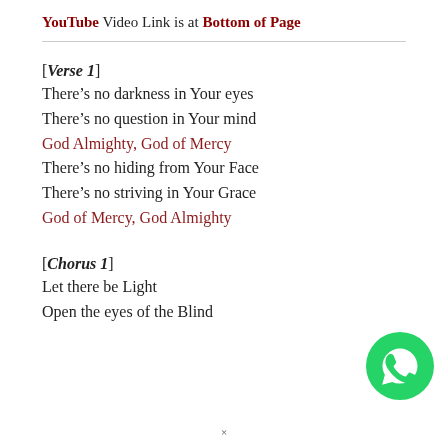YouTube Video Link is at Bottom of Page
[Verse 1]
There’s no darkness in Your eyes
There’s no question in Your mind
God Almighty, God of Mercy
There’s no hiding from Your Face
There’s no striving in Your Grace
God of Mercy, God Almighty
[Chorus 1]
Let there be Light
Open the eyes of the Blind...